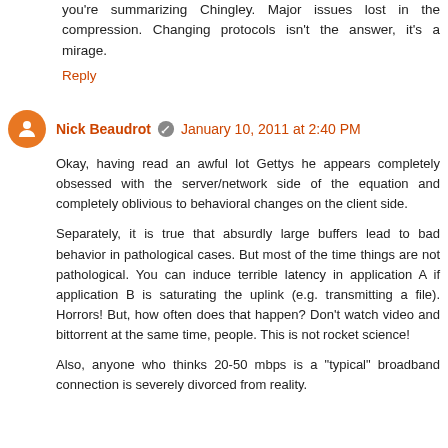you're summarizing Chingley. Major issues lost in the compression. Changing protocols isn't the answer, it's a mirage.
Reply
Nick Beaudrot · January 10, 2011 at 2:40 PM
Okay, having read an awful lot Gettys he appears completely obsessed with the server/network side of the equation and completely oblivious to behavioral changes on the client side.
Separately, it is true that absurdly large buffers lead to bad behavior in pathological cases. But most of the time things are not pathological. You can induce terrible latency in application A if application B is saturating the uplink (e.g. transmitting a file). Horrors! But, how often does that happen? Don't watch video and bittorrent at the same time, people. This is not rocket science!
Also, anyone who thinks 20-50 mbps is a "typical" broadband connection is severely divorced from reality.